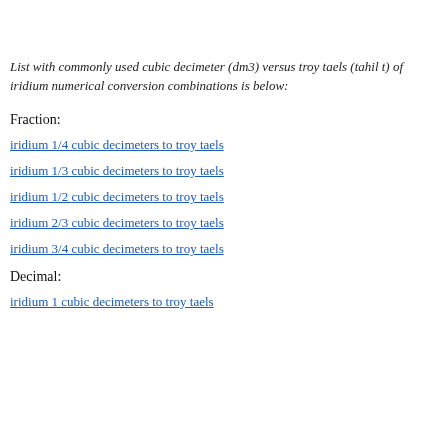List with commonly used cubic decimeter (dm3) versus troy taels (tahil t) of iridium numerical conversion combinations is below:
Fraction:
iridium 1/4 cubic decimeters to troy taels
iridium 1/3 cubic decimeters to troy taels
iridium 1/2 cubic decimeters to troy taels
iridium 2/3 cubic decimeters to troy taels
iridium 3/4 cubic decimeters to troy taels
Decimal:
iridium 1 cubic decimeters to troy taels